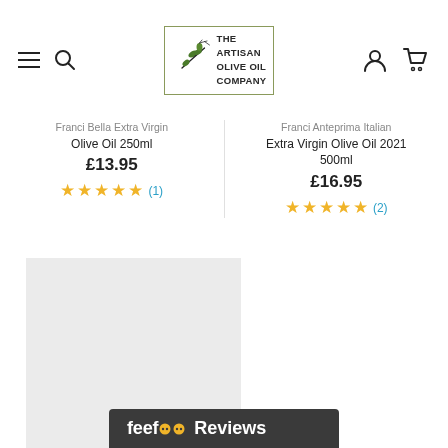[Figure (logo): The Artisan Olive Oil Company logo with olive branch illustration inside a square border]
Franci Bella Extra Virgin Olive Oil 250ml
£13.95
★★★★★ (1)
Franci Anteprima Italian Extra Virgin Olive Oil 2021 500ml
£16.95
★★★★★ (2)
[Figure (photo): Light grey product image placeholder on left side]
[Figure (logo): Feefo Reviews badge with dark background]